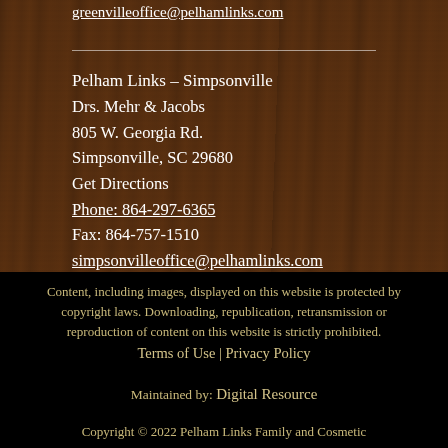greenvilleoffice@pelhamlinks.com
Pelham Links – Simpsonville
Drs. Mehr & Jacobs
805 W. Georgia Rd.
Simpsonville, SC 29680
Get Directions
Phone: 864-297-6365
Fax: 864-757-1510
simpsonvilleoffice@pelhamlinks.com
Content, including images, displayed on this website is protected by copyright laws. Downloading, republication, retransmission or reproduction of content on this website is strictly prohibited.
Terms of Use | Privacy Policy
Maintained by: Digital Resource
Copyright © 2022 Pelham Links Family and Cosmetic